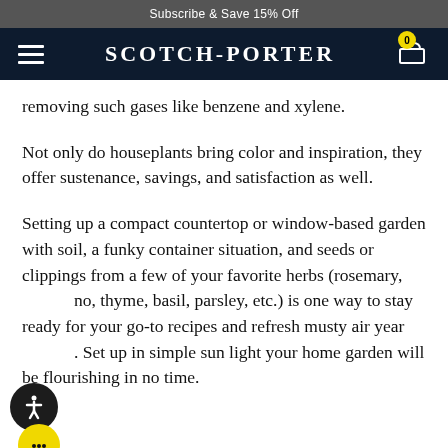Subscribe & Save 15% Off
SCOTCH-PORTER
removing such gases like benzene and xylene.
Not only do houseplants bring color and inspiration, they offer sustenance, savings, and satisfaction as well.
Setting up a compact countertop or window-based garden with soil, a funky container situation, and seeds or clippings from a few of your favorite herbs (rosemary, no, thyme, basil, parsley, etc.) is one way to stay ready for your go-to recipes and refresh musty air year . Set up in simple sun light your home garden will be flourishing in no time.